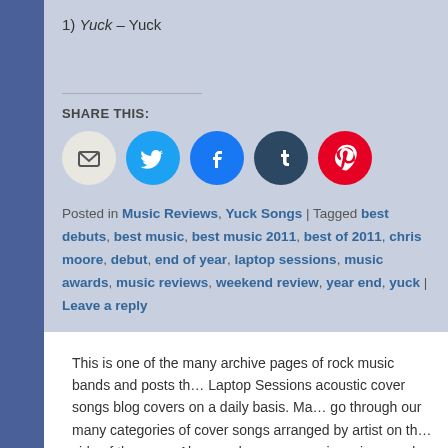1) Yuck – Yuck
SHARE THIS:
[Figure (infographic): Five social sharing icon circles: email (grey), Twitter (light blue), Facebook (blue), Tumblr (dark navy), Pinterest (red)]
Posted in Music Reviews, Yuck Songs | Tagged best debuts, best music, best music 2011, best of 2011, chris moore, debut, end of year, laptop sessions, music awards, music reviews, weekend review, year end, yuck | Leave a reply
This is one of the many archive pages of rock music bands and posts that Laptop Sessions acoustic cover songs blog covers on a daily basis. Make sure to go through our many categories of cover songs arranged by artist on the right side of the page. Also, read or many music reviews and informative music posts. There's always something new here at the Laptop Sessions including new indie music, and songwriters playing original songs, so take a look around and become an instant fan!